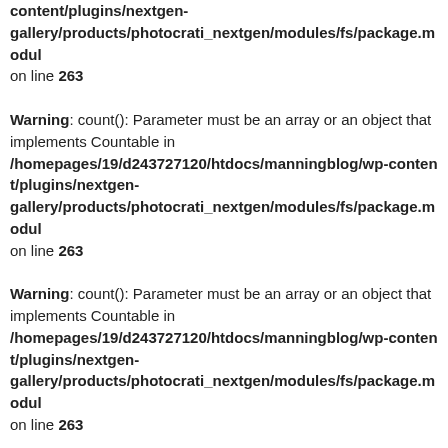content/plugins/nextgen-gallery/products/photocrati_nextgen/modules/fs/package.module on line 263
Warning: count(): Parameter must be an array or an object that implements Countable in /homepages/19/d243727120/htdocs/manningblog/wp-content/plugins/nextgen-gallery/products/photocrati_nextgen/modules/fs/package.module on line 263
Warning: count(): Parameter must be an array or an object that implements Countable in /homepages/19/d243727120/htdocs/manningblog/wp-content/plugins/nextgen-gallery/products/photocrati_nextgen/modules/fs/package.module on line 263
Warning: count(): Parameter must be an array or an object that